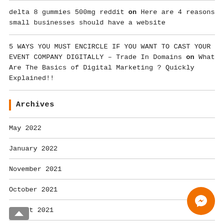delta 8 gummies 500mg reddit on Here are 4 reasons small businesses should have a website
5 WAYS YOU MUST ENCIRCLE IF YOU WANT TO CAST YOUR EVENT COMPANY DIGITALLY – Trade In Domains on What Are The Basics of Digital Marketing ? Quickly Explained!!
Archives
May 2022
January 2022
November 2021
October 2021
August 2021
July 2021